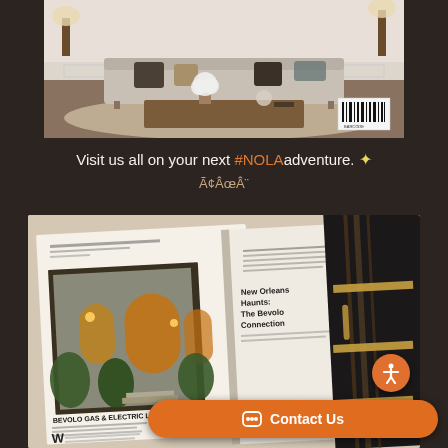[Figure (photo): Interior living room with gray sofa, pillows, floor lamps, coffee table with flowers and decorative items, patterned rug, with a barcode visible in the lower right corner]
Visit us all on your next #NOLAadventure. ✨ Ã¢ÂœÂ¨
[Figure (photo): An open magazine spread showing a Bevolo Gas & Electric Lights article featuring a New Orleans home exterior with arched windows and gas lights, alongside a close-up of what appears to be a dark metal door or hardware piece with brass accents, and a cursive signature 'Lamoureux Antiques']
Contact Us